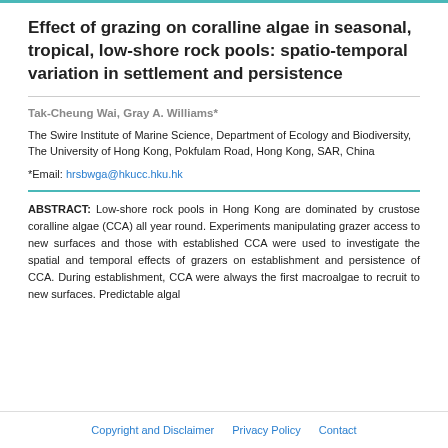Effect of grazing on coralline algae in seasonal, tropical, low-shore rock pools: spatio-temporal variation in settlement and persistence
Tak-Cheung Wai, Gray A. Williams*
The Swire Institute of Marine Science, Department of Ecology and Biodiversity, The University of Hong Kong, Pokfulam Road, Hong Kong, SAR, China
*Email: hrsbwga@hkucc.hku.hk
ABSTRACT: Low-shore rock pools in Hong Kong are dominated by crustose coralline algae (CCA) all year round. Experiments manipulating grazer access to new surfaces and those with established CCA were used to investigate the spatial and temporal effects of grazers on establishment and persistence of CCA. During establishment, CCA were always the first macroalgae to recruit to new surfaces. Predictable algal
Copyright and Disclaimer   Privacy Policy   Contact